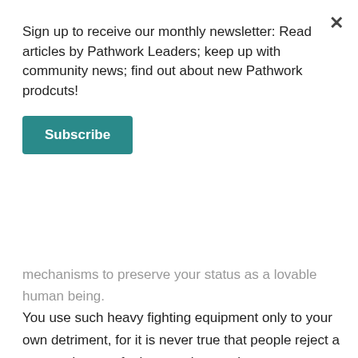Sign up to receive our monthly newsletter: Read articles by Pathwork Leaders; keep up with community news; find out about new Pathwork prodcuts!
Subscribe
mechanisms to preserve your status as a lovable human being. You use such heavy fighting equipment only to your own detriment, for it is never true that people reject a person due to a fault or weakness alone.
If you observe life around you closely, you will find out without a doubt that hiding the truth is what causes rejection. This is why a free admission of the worst fault or distortion will bring forth acceptance, while a defense against exposure brings forth contempt, dislike, rejection, and fear, and is bound to make the other person defensive. If free admission is not yet possible, perhaps because the truth is not yet fully seen, then the